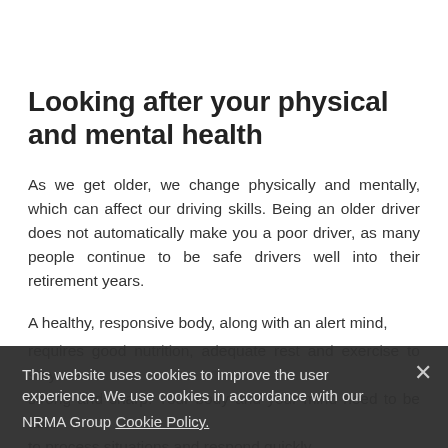Looking after your physical and mental health
As we get older, we change physically and mentally, which can affect our driving skills. Being an older driver does not automatically make you a poor driver, as many people continue to be safe drivers well into their retirement years.
A healthy, responsive body, along with an alert mind, requires good nutrition, adequate rest and exercise to stay strong and sharp. Your body and your mind need to be able to process situations and respond quickly.
Physical and mental fitness
This website uses cookies to improve the user experience. We use cookies in accordance with our NRMA Group Cookie Policy.